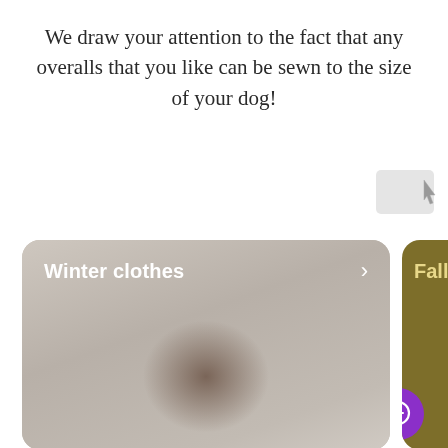We draw your attention to the fact that any overalls that you like can be sewn to the size of your dog!
[Figure (screenshot): Partially visible cursor/pointer icon in grey]
[Figure (photo): Winter clothes category card with blurred dog image background, white bold label 'Winter clothes' and right arrow chevron]
[Figure (photo): Partially visible Fall clothes category card with dark golden/olive background]